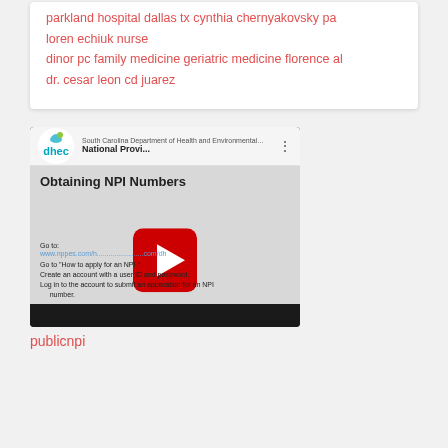parkland hospital dallas tx cynthia chernyakovsky pa
loren echiuk nurse
dinor pc family medicine geriatric medicine florence al
dr. cesar leon cd juarez
[Figure (screenshot): YouTube video thumbnail for 'National Provi...' (National Provider Identifier) from South Carolina Department of Health and Environmental Control (DHEC). Shows a video titled 'Obtaining NPI Numbers' with instructions: Go to www.nppes.com, Go to 'How to apply for an NPI', Create an account with a user ID and password, Log in to the account to submit an application for an NPI number. Red YouTube play button overlay on grey background.]
publicnpi